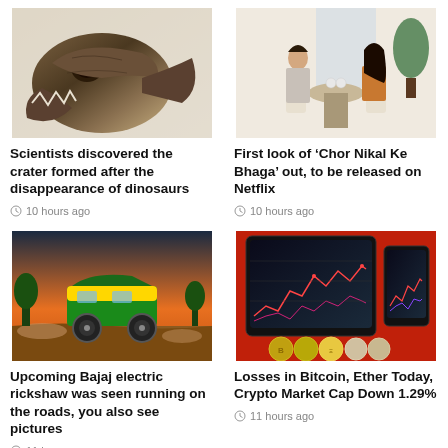[Figure (photo): T-Rex dinosaur skull skeleton on display in a museum]
Scientists discovered the crater formed after the disappearance of dinosaurs
10 hours ago
[Figure (photo): A couple sitting at a restaurant table facing each other in conversation]
First look of ‘Chor Nikal Ke Bhaga’ out, to be released on Netflix
10 hours ago
[Figure (photo): A yellow and green electric auto-rickshaw driving on a dusty road at sunset]
Upcoming Bajaj electric rickshaw was seen running on the roads, you also see pictures
11 hours ago
[Figure (photo): Cryptocurrency trading charts on tablet and phone screens with gold and silver coins in front]
Losses in Bitcoin, Ether Today, Crypto Market Cap Down 1.29%
11 hours ago